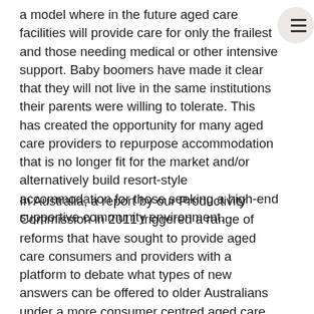a model where in the future aged care facilities will provide care for only the frailest and those needing medical or other intensive support. Baby boomers have made it clear that they will not live in the same institutions their parents were willing to tolerate. This has created the opportunity for many aged care providers to repurpose accommodation that is no longer fit for the market and/or alternatively build resort-style accommodation for those seeking a high-end supportive community environment.
In Australia, a report by our Productivity Commission in 2011 triggered a range of reforms that have sought to provide aged care consumers and providers with a platform to debate what types of new answers can be offered to older Australians under a more consumer centred aged care system. By their nature, individual aged care packages are costly to deliver in the home, resulting in the sector